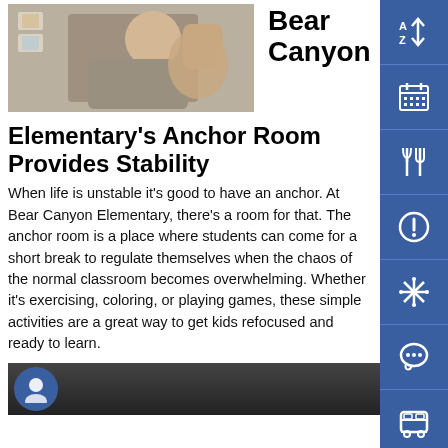[Figure (photo): Child in classroom holding up hand toward camera]
Bear Canyon
Elementary's Anchor Room Provides Stability
When life is unstable it's good to have an anchor. At Bear Canyon Elementary, there's a room for that. The anchor room is a place where students can come for a short break to regulate themselves when the chaos of the normal classroom becomes overwhelming. Whether it's exercising, coloring, or playing games, these simple activities are a great way to get kids refocused and ready to learn.
[Figure (photo): Person photo at bottom of page]